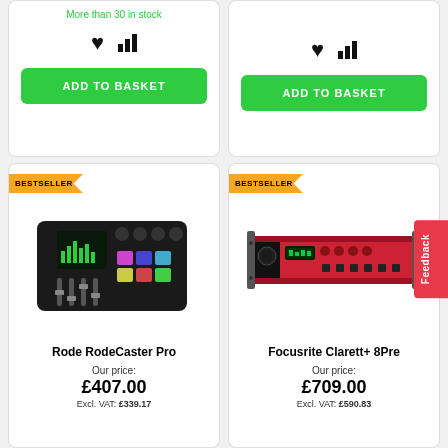More than 30 in stock
[Figure (screenshot): ADD TO BASKET button (green) on left product card]
[Figure (screenshot): ADD TO BASKET button (green) on right product card]
[Figure (photo): Rode RodeCaster Pro podcast mixer - black multi-channel mixer with faders and colorful pads]
Rode RodeCaster Pro
Our price:
£407.00
Excl. VAT: £339.17
[Figure (photo): Focusrite Clarett+ 8Pre audio interface - red rack-mounted unit]
Focusrite Clarett+ 8Pre
Our price:
£709.00
Excl. VAT: £590.83